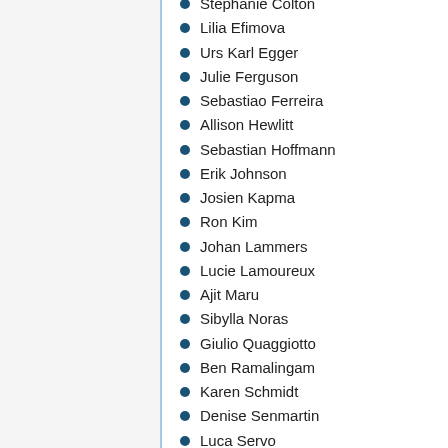Stephanie Colton
Lilia Efimova
Urs Karl Egger
Julie Ferguson
Sebastiao Ferreira
Allison Hewlitt
Sebastian Hoffmann
Erik Johnson
Josien Kapma
Ron Kim
Johan Lammers
Lucie Lamoureux
Ajit Maru
Sibylla Noras
Giulio Quaggiotto
Ben Ramalingam
Karen Schmidt
Denise Senmartin
Luca Servo
Simone Staiger